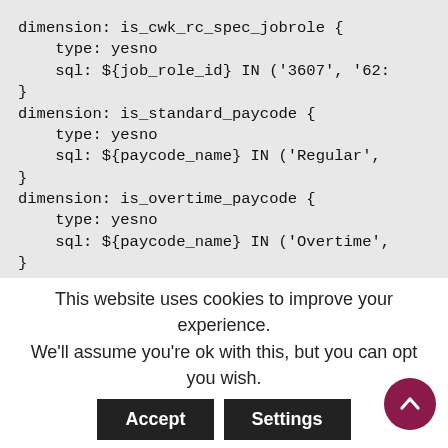dimension: is_cwk_rc_spec_jobrole {
    type: yesno
    sql: ${job_role_id} IN ('3607', '62:
}
dimension: is_standard_paycode {
    type: yesno
    sql: ${paycode_name} IN ('Regular',
}
dimension: is_overtime_paycode {
    type: yesno
    sql: ${paycode_name} IN ('Overtime',
}
dimension: is_transaction_activity {
    type: yesno
    sql: lower(${activity_code}) = 'tran
}
dimension: is_break_activity {
    type: yesno
This website uses cookies to improve your experience. We'll assume you're ok with this, but you can opt you wish.
Accept
Settings